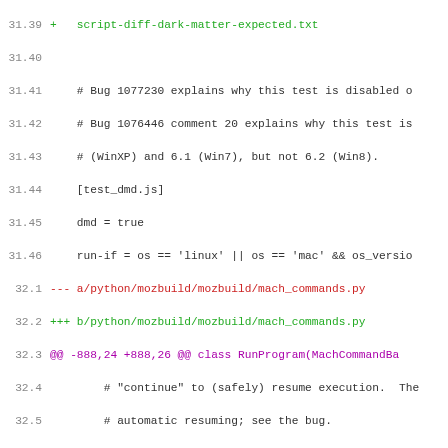[Figure (screenshot): Code diff view showing file changes with line numbers, added lines in green, removed lines in red, and diff headers in purple/magenta. Lines 31.39-32.24 are shown.]